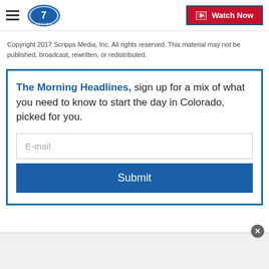Denver7 | Watch Now
Copyright 2017 Scripps Media, Inc. All rights reserved. This material may not be published, broadcast, rewritten, or redistributed.
The Morning Headlines, sign up for a mix of what you need to know to start the day in Colorado, picked for you.